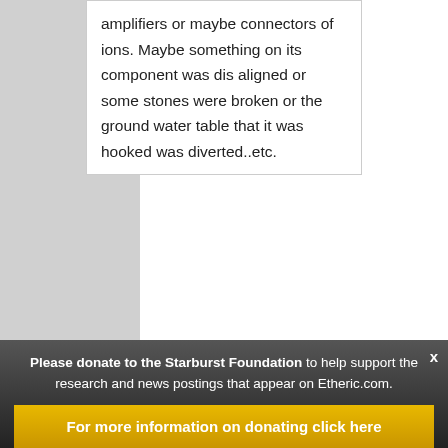amplifiers or maybe connectors of ions. Maybe something on its component was dis aligned or some stones were broken or the ground water table that it was hooked was diverted..etc.
Reply
[Figure (illustration): User avatar placeholder icon (gray silhouette)]
Paul LaViolette
Please donate to the Starburst Foundation to help support the research and news postings that appear on Etheric.com.
For more information on donating click here